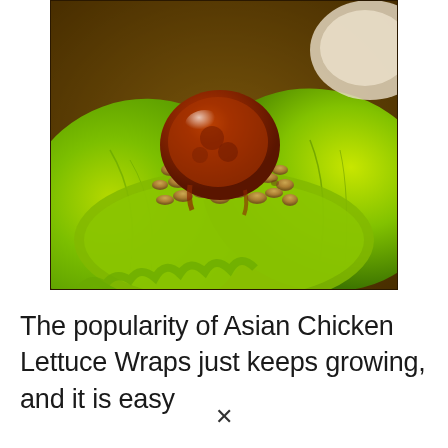[Figure (photo): Close-up photo of Asian Chicken Lettuce Wraps: bright green lettuce leaves filled with seasoned ground chicken and a glossy dark brown sauce on top, served on a plate.]
The popularity of Asian Chicken Lettuce Wraps just keeps growing, and it is easy